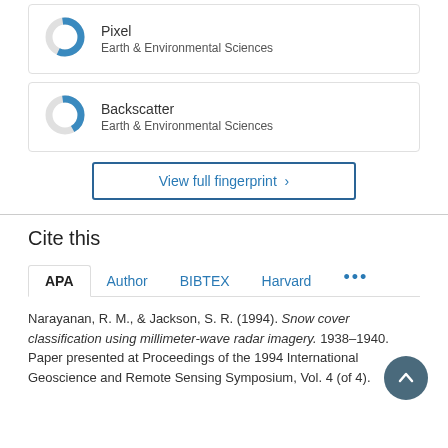[Figure (donut-chart): Partial donut chart icon for 'Pixel' keyword, Earth & Environmental Sciences]
Pixel
Earth & Environmental Sciences
[Figure (donut-chart): Partial donut chart icon for 'Backscatter' keyword, Earth & Environmental Sciences]
Backscatter
Earth & Environmental Sciences
View full fingerprint ›
Cite this
APA  Author  BIBTEX  Harvard  ...
Narayanan, R. M., & Jackson, S. R. (1994). Snow cover classification using millimeter-wave radar imagery. 1938–1940. Paper presented at Proceedings of the 1994 International Geoscience and Remote Sensing Symposium, Vol. 4 (of 4).